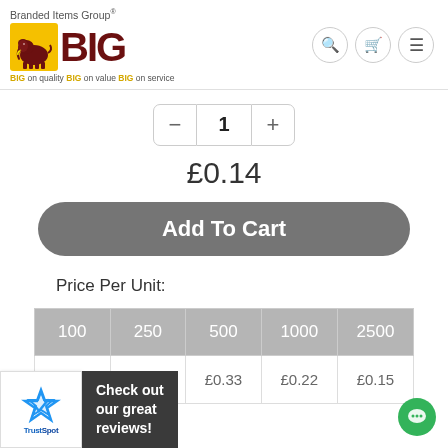[Figure (logo): Branded Items Group BIG logo with yellow elephant box, dark red BIG letters, and tagline 'BIG on quality BIG on value BIG on service']
1
£0.14
Add To Cart
Price Per Unit:
| 100 | 250 | 500 | 1000 | 2500 |
| --- | --- | --- | --- | --- |
| £1.11 | £0.53 | £0.33 | £0.22 | £0.15 |
[Figure (logo): TrustSpot widget with blue star and 'Check out our great reviews!' text on dark background]